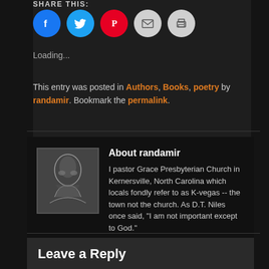SHARE THIS:
[Figure (infographic): Social share buttons: Facebook (blue circle), Twitter (cyan circle), Pinterest (red circle), Email (gray circle), Print (gray circle)]
Loading...
This entry was posted in Authors, Books, poetry by randamir. Bookmark the permalink.
About randamir
[Figure (photo): Black and white sketch/photo of a person]
I pastor Grace Presbyterian Church in Kernersville, North Carolina which locals fondly refer to as K-vegas -- the town not the church. As D.T. Niles once said, "I am not important except to God."
View all posts by randamir →
Leave a Reply